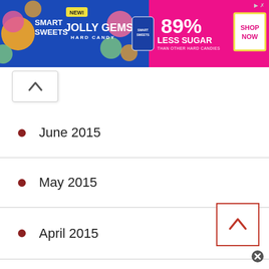[Figure (illustration): SmartSweets Jolly Gems Hard Candy advertisement banner. Blue and pink/magenta background. Left side shows SmartSweets logo, NEW! badge, JOLLY GEMS HARD CANDY text, candy images. Right side shows 89% LESS SUGAR THAN OTHER HARD CANDIES, and SHOP NOW button.]
June 2015
May 2015
April 2015
March 2015
February 2015
January 2015